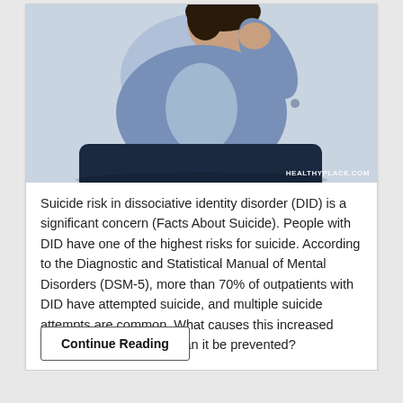[Figure (photo): Person sitting, wearing denim jacket, appearing distressed or anxious, with watermark HEALTHYPLACE.COM in bottom right corner]
Suicide risk in dissociative identity disorder (DID) is a significant concern (Facts About Suicide). People with DID have one of the highest risks for suicide. According to the Diagnostic and Statistical Manual of Mental Disorders (DSM-5), more than 70% of outpatients with DID have attempted suicide, and multiple suicide attempts are common. What causes this increased suicide risk in DID, and can it be prevented?
Continue Reading